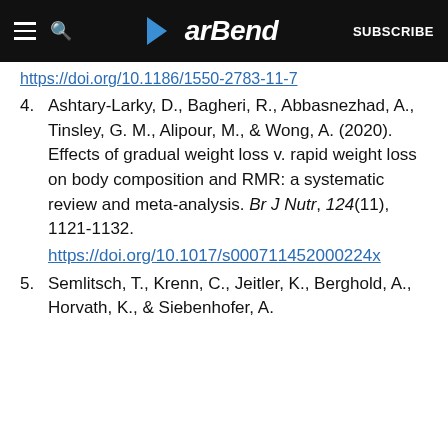BarBend — SUBSCRIBE
https://doi.org/10.1186/1550-2783-11-7
4. Ashtary-Larky, D., Bagheri, R., Abbasnezhad, A., Tinsley, G. M., Alipour, M., & Wong, A. (2020). Effects of gradual weight loss v. rapid weight loss on body composition and RMR: a systematic review and meta-analysis. Br J Nutr, 124(11), 1121-1132. https://doi.org/10.1017/s000711452000224x
5. Semlitsch, T., Krenn, C., Jeitler, K., Berghold, A., Horvath, K., & Siebenhofer, A.